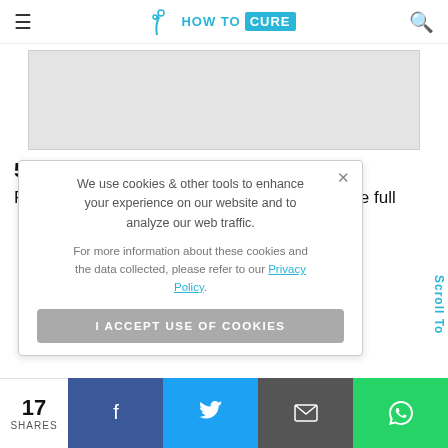HOW TO CURE
[Figure (other): Gray advertisement placeholder banner]
5. Pineapple for inflammation
Pineapple is loaded with bromelain, an enzyme full of anti-inflammatory properties. It helps in reducing inflammation. It is effective, but should be taken in limited quantities.
We use cookies & other tools to enhance your experience on our website and to analyze our web traffic.

For more information about these cookies and the data collected, please refer to our Privacy Policy.

I ACCEPT USE OF COOKIES
17 SHARES